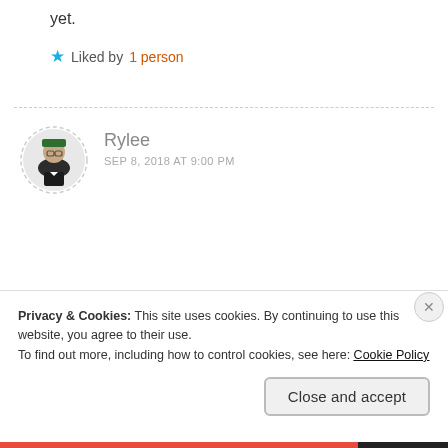yet.
★ Liked by 1 person
Rylee
SEP 8, 2018 AT 9:00 PM
Privacy & Cookies: This site uses cookies. By continuing to use this website, you agree to their use.
To find out more, including how to control cookies, see here: Cookie Policy
Close and accept